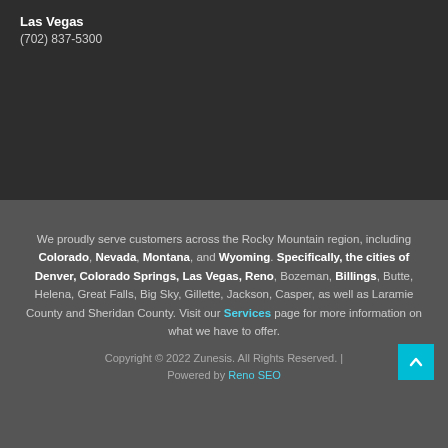Las Vegas
(702) 837-5300
We proudly serve customers across the Rocky Mountain region, including Colorado, Nevada, Montana, and Wyoming. Specifically, the cities of Denver, Colorado Springs, Las Vegas, Reno, Bozeman, Billings, Butte, Helena, Great Falls, Big Sky, Gillette, Jackson, Casper, as well as Laramie County and Sheridan County. Visit our Services page for more information on what we have to offer.
Copyright © 2022 Zunesis. All Rights Reserved. | Powered by Reno SEO